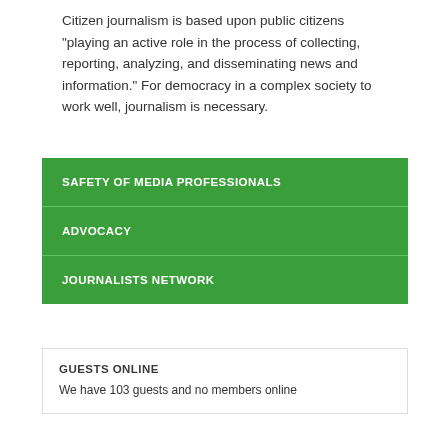Citizen journalism is based upon public citizens "playing an active role in the process of collecting, reporting, analyzing, and disseminating news and information." For democracy in a complex society to work well, journalism is necessary.
Read More...
SAFETY OF MEDIA PROFESSIONALS
ADVOCACY
JOURNALISTS NETWORK
GUESTS ONLINE
We have 103 guests and no members online